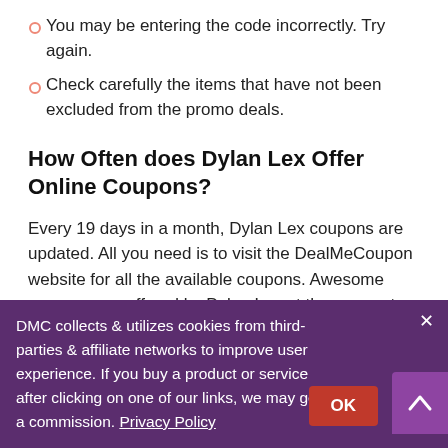You may be entering the code incorrectly. Try again.
Check carefully the items that have not been excluded from the promo deals.
How Often does Dylan Lex Offer Online Coupons?
Every 19 days in a month, Dylan Lex coupons are updated. All you need is to visit the DealMeCoupon website for all the available coupons. Awesome coupons are offered by Dylan Lex at the moment.
How much is the top savings I can get when using coupon at Dylan Lex?
Top deals save as big as $680 on promos, discounts, and
DMC collects & utilizes cookies from third-parties & affiliate networks to improve user experience. If you buy a product or service after clicking on one of our links, we may get a commission. Privacy Policy